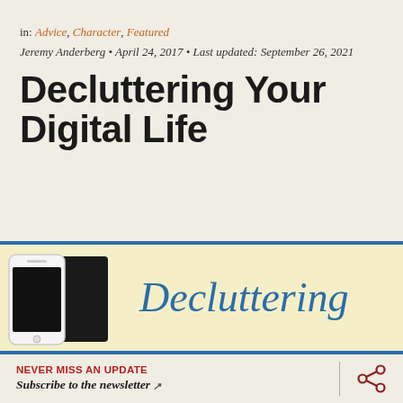in: Advice, Character, Featured
Jeremy Anderberg • April 24, 2017 • Last updated: September 26, 2021
Decluttering Your Digital Life
[Figure (illustration): Banner image showing a smartphone with black screen next to italic blue text 'Decluttering' on a pale yellow background with blue top and bottom borders]
NEVER MISS AN UPDATE
Subscribe to the newsletter [external link icon]